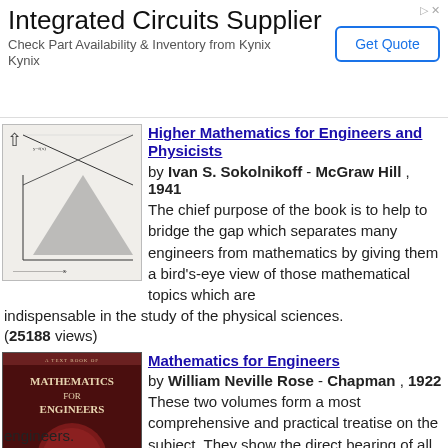[Figure (screenshot): Advertisement banner for Integrated Circuits Supplier - Kynix, with Get Quote button]
[Figure (photo): Book cover thumbnail for Higher Mathematics for Engineers and Physicists showing graphs and mathematical diagrams]
Higher Mathematics for Engineers and Physicists
by Ivan S. Sokolnikoff - McGraw Hill , 1941 The chief purpose of the book is to help to bridge the gap which separates many engineers from mathematics by giving them a bird's-eye view of those mathematical topics which are indispensable in the study of the physical sciences. (25188 views)
[Figure (photo): Book cover thumbnail for Mathematics for Engineers, dark red cover with title text]
Mathematics for Engineers
by William Neville Rose - Chapman , 1922 These two volumes form a most comprehensive and practical treatise on the subject. They show the direct bearing of all principles to engineering practice, and will prove a valuable reference work embracing all the mathematics needed by engineers.